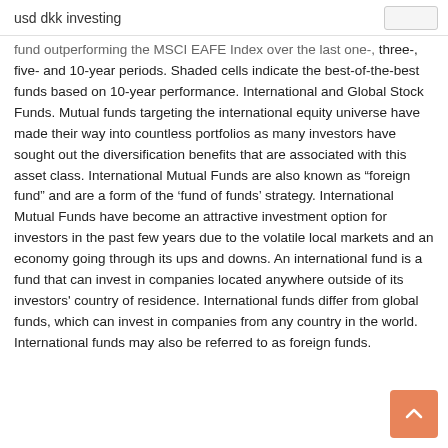usd dkk investing
fund outperforming the MSCI EAFE Index over the last one-, three-, five- and 10-year periods. Shaded cells indicate the best-of-the-best funds based on 10-year performance. International and Global Stock Funds. Mutual funds targeting the international equity universe have made their way into countless portfolios as many investors have sought out the diversification benefits that are associated with this asset class. International Mutual Funds are also known as “foreign fund” and are a form of the ‘fund of funds’ strategy. International Mutual Funds have become an attractive investment option for investors in the past few years due to the volatile local markets and an economy going through its ups and downs. An international fund is a fund that can invest in companies located anywhere outside of its investors' country of residence. International funds differ from global funds, which can invest in companies from any country in the world. International funds may also be referred to as foreign funds.